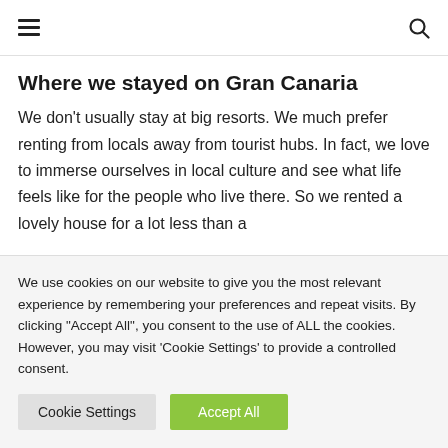☰ [menu icon] [search icon]
Where we stayed on Gran Canaria
We don't usually stay at big resorts. We much prefer renting from locals away from tourist hubs. In fact, we love to immerse ourselves in local culture and see what life feels like for the people who live there. So we rented a lovely house for a lot less than a
We use cookies on our website to give you the most relevant experience by remembering your preferences and repeat visits. By clicking "Accept All", you consent to the use of ALL the cookies. However, you may visit 'Cookie Settings' to provide a controlled consent.
Cookie Settings  Accept All